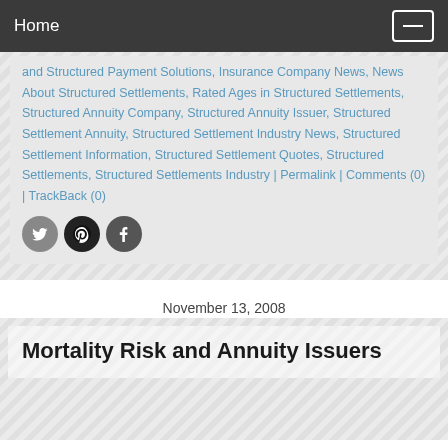Home
and Structured Payment Solutions, Insurance Company News, News About Structured Settlements, Rated Ages in Structured Settlements, Structured Annuity Company, Structured Annuity Issuer, Structured Settlement Annuity, Structured Settlement Industry News, Structured Settlement Information, Structured Settlement Quotes, Structured Settlements, Structured Settlements Industry | Permalink | Comments (0) | TrackBack (0)
[Figure (other): Social share icons: Twitter, Pinterest, Facebook]
November 13, 2008
Mortality Risk and Annuity Issuers
A recent memo from Liberty Life Assurance of Boston's Tom Donahue to its brokerage force detailed Liberty's